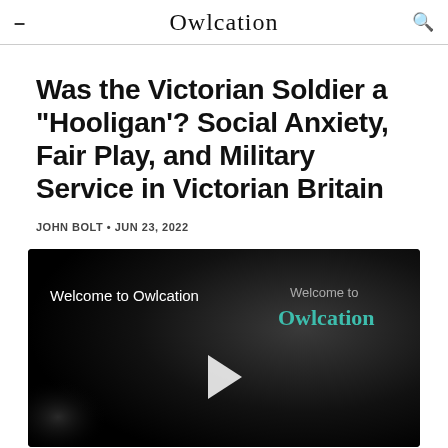Owlcation
Was the Victorian Soldier a "Hooligan'? Social Anxiety, Fair Play, and Military Service in Victorian Britain
JOHN BOLT • JUN 23, 2022
[Figure (other): Video player thumbnail with dark textured background showing 'Welcome to Owlcation' text and a play button in the center]